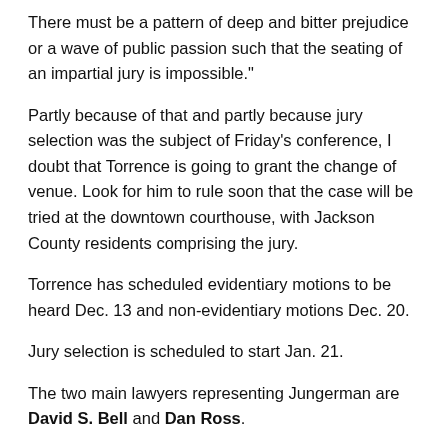There must be a pattern of deep and bitter prejudice or a wave of public passion such that the seating of an impartial jury is impossible."
Partly because of that and partly because jury selection was the subject of Friday's conference, I doubt that Torrence is going to grant the change of venue. Look for him to rule soon that the case will be tried at the downtown courthouse, with Jackson County residents comprising the jury.
Torrence has scheduled evidentiary motions to be heard Dec. 13 and non-evidentiary motions Dec. 20.
Jury selection is scheduled to start Jan. 21.
The two main lawyers representing Jungerman are David S. Bell and Dan Ross.